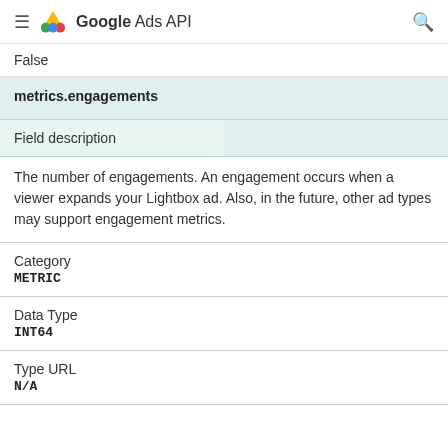Google Ads API
False
| metrics.engagements |  |
| --- | --- |
| Field description |  |
| The number of engagements. An engagement occurs when a viewer expands your Lightbox ad. Also, in the future, other ad types may support engagement metrics. |  |
| Category |  |
| METRIC |  |
| Data Type |  |
| INT64 |  |
| Type URL |  |
| N/A |  |